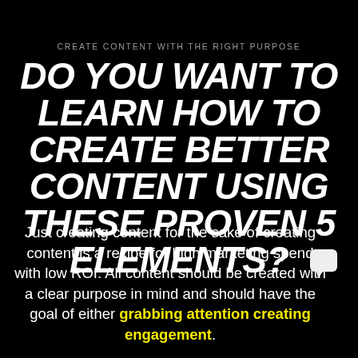CREATE CONTENT WITH THE RIGHT PURPOSE
DO YOU WANT TO LEARN HOW TO CREATE BETTER CONTENT USING THESE PROVEN 5 ELEMENTS?
Just creating content for the sake of creating content is a recipe for high marketing spend with low ROI. All content should be created with a clear purpose in mind and should have the goal of either grabbing attention creating engagement.